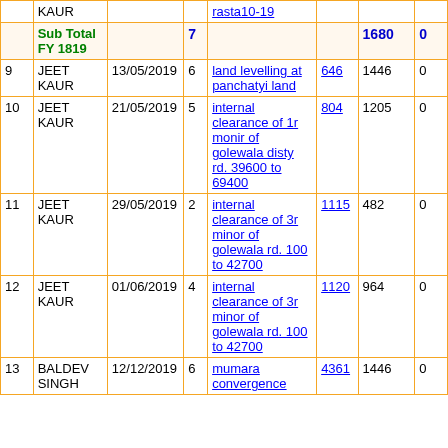| # | Name | Date | Days | Work | Muster | Amount | Due |
| --- | --- | --- | --- | --- | --- | --- | --- |
|  | KAUR |  |  | rasta10-19 |  |  |  |
|  | Sub Total FY 1819 |  | 7 |  |  | 1680 | 0 |
| 9 | JEET KAUR | 13/05/2019 | 6 | land levelling at panchatyi land | 646 | 1446 | 0 |
| 10 | JEET KAUR | 21/05/2019 | 5 | internal clearance of 1r monir of golewala disty rd. 39600 to 69400 | 804 | 1205 | 0 |
| 11 | JEET KAUR | 29/05/2019 | 2 | internal clearance of 3r minor of golewala rd. 100 to 42700 | 1115 | 482 | 0 |
| 12 | JEET KAUR | 01/06/2019 | 4 | internal clearance of 3r minor of golewala rd. 100 to 42700 | 1120 | 964 | 0 |
| 13 | BALDEV SINGH | 12/12/2019 | 6 | mumara convergence | 4361 | 1446 | 0 |